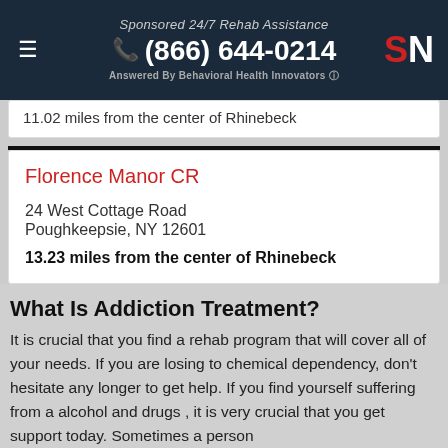Sponsored 24/7 Rehab Assistance | (866) 644-0214 | Answered By Behavioral Health Innovators
11.02 miles from the center of Rhinebeck
Florence Manor CR
24 West Cottage Road
Poughkeepsie, NY 12601
13.23 miles from the center of Rhinebeck
What Is Addiction Treatment?
It is crucial that you find a rehab program that will cover all of your needs. If you are losing to chemical dependency, don't hesitate any longer to get help. If you find yourself suffering from a alcohol and drugs , it is very crucial that you get support today. Sometimes a person